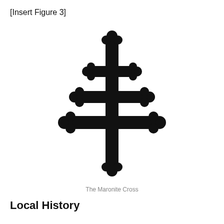[Insert Figure 3]
[Figure (illustration): The Maronite Cross — a black cross with three horizontal crossbars, each bar ending in trefoil (three-circle) decorations. The vertical shaft also ends in trefoil at top and bottom. The three crossbars diminish in length from bottom to top, giving the cross a hierarchical appearance.]
The Maronite Cross
Local History